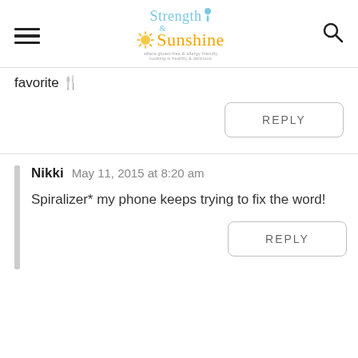[Figure (logo): Strength and Sunshine blog logo with hamburger menu icon on left and search icon on right]
favorite 🍴
REPLY
Nikki   May 11, 2015 at 8:20 am
Spiralizer* my phone keeps trying to fix the word!
REPLY